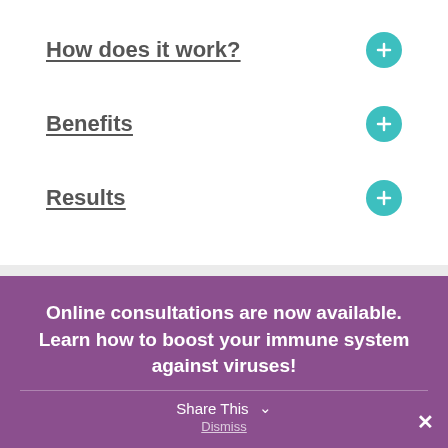How does it work?
Benefits
Results
BIOPTRON light
Online consultations are now available. Learn how to boost your immune system against viruses!
Share This
Dismiss